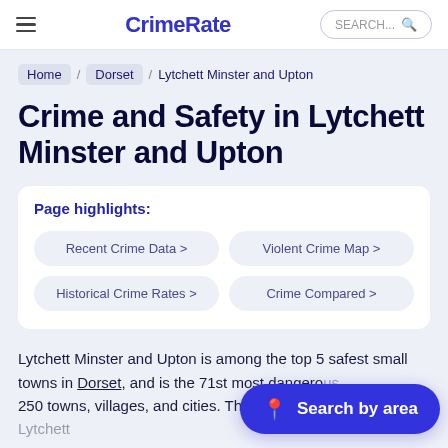CrimeRate
Home / Dorset / Lytchett Minster and Upton
Crime and Safety in Lytchett Minster and Upton
Page highlights:
Recent Crime Data >
Violent Crime Map >
Historical Crime Rates >
Crime Compared >
Lytchett Minster and Upton is among the top 5 safest small towns in Dorset, and is the 71st most dangerous out of 250 towns, villages, and cities. The overall crime rate in Lytchett